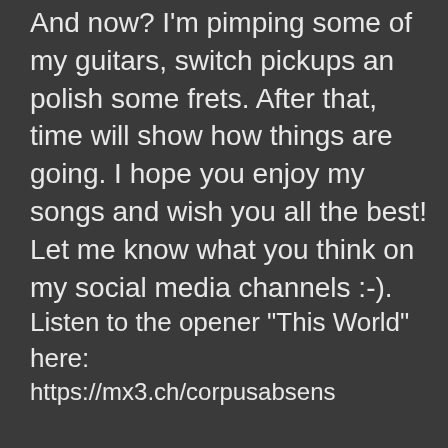And now? I'm pimping some of my guitars, switch pickups an polish some frets. After that, time will show how things are going. I hope you enjoy my songs and wish you all the best! Let me know what you think on my social media channels :-).
Listen to the opener "This World" here:
https://mx3.ch/corpusabsens